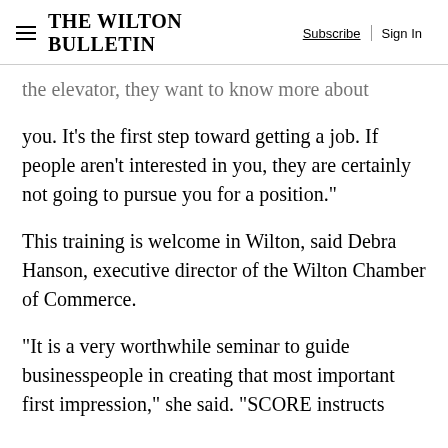The Wilton Bulletin  Subscribe  Sign In
the elevator, they want to know more about you. It’s the first step toward getting a job. If people aren’t interested in you, they are certainly not going to pursue you for a position.”
This training is welcome in Wilton, said Debra Hanson, executive director of the Wilton Chamber of Commerce.
“It is a very worthwhile seminar to guide businesspeople in creating that most important first impression,” she said. “SCORE instructs